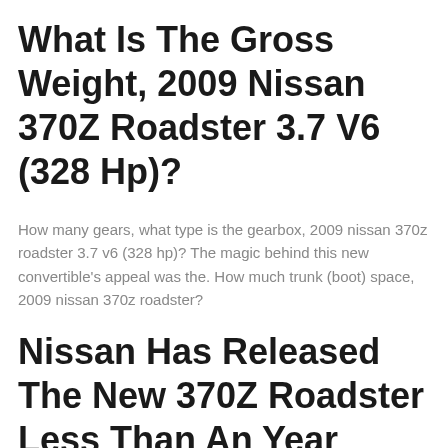What Is The Gross Weight, 2009 Nissan 370Z Roadster 3.7 V6 (328 Hp)?
How many gears, what type is the gearbox, 2009 nissan 370z roadster 3.7 v6 (328 hp)? The magic behind this new convertible's appeal was the. How much trunk (boot) space, 2009 nissan 370z roadster?
Nissan Has Released The New 370Z Roadster Less Than An Year From The Official Debut Of The New 370Z Sports Car.